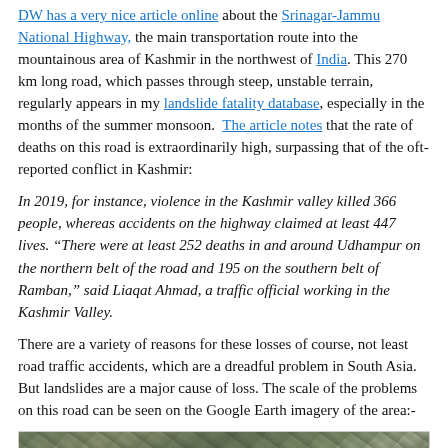DW has a very nice article online about the Srinagar-Jammu National Highway, the main transportation route into the mountainous area of Kashmir in the northwest of India. This 270 km long road, which passes through steep, unstable terrain, regularly appears in my landslide fatality database, especially in the months of the summer monsoon. The article notes that the rate of deaths on this road is extraordinarily high, surpassing that of the oft-reported conflict in Kashmir:
In 2019, for instance, violence in the Kashmir valley killed 366 people, whereas accidents on the highway claimed at least 447 lives. "There were at least 252 deaths in and around Udhampur on the northern belt of the road and 195 on the southern belt of Ramban," said Liaqat Ahmad, a traffic official working in the Kashmir Valley.
There are a variety of reasons for these losses of course, not least road traffic accidents, which are a dreadful problem in South Asia. But landslides are a major cause of loss. The scale of the problems on this road can be seen on the Google Earth imagery of the area:-
[Figure (photo): Google Earth satellite imagery showing steep, rugged mountainous terrain of the Srinagar-Jammu National Highway area in Kashmir, with visible landslide-prone slopes and rocky terrain.]